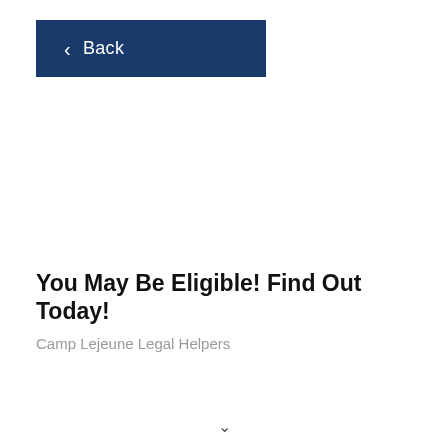[Figure (other): Dark navy blue back button with left-pointing chevron arrow and text 'Back']
You May Be Eligible! Find Out Today!
Camp Lejeune Legal Helpers